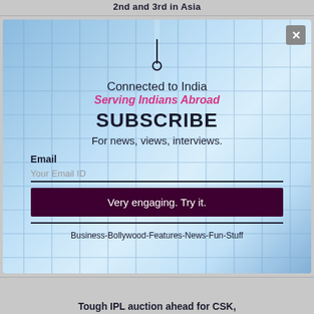2nd and 3rd in Asia
[Figure (screenshot): Subscribe modal overlay with blue building background. Contains 'Connected to India / Serving Indians Abroad' heading, SUBSCRIBE title, email input field, and 'Very engaging. Try it.' button. Close X button in top right.]
Connected to India
Serving Indians Abroad
SUBSCRIBE
For news, views, interviews.
Email
Your Email ID
Very engaging. Try it.
Business-Bollywood-Features-News-Fun-Stuff
Tough IPL auction ahead for CSK,